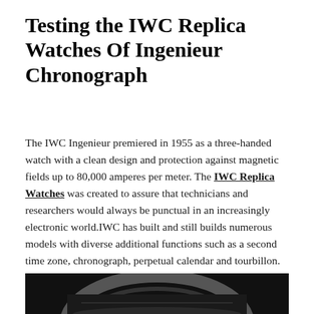Testing the IWC Replica Watches Of Ingenieur Chronograph
The IWC Ingenieur premiered in 1955 as a three-handed watch with a clean design and protection against magnetic fields up to 80,000 amperes per meter. The IWC Replica Watches was created to assure that technicians and researchers would always be punctual in an increasingly electronic world.IWC has built and still builds numerous models with diverse additional functions such as a second time zone, chronograph, perpetual calendar and tourbillon.
[Figure (photo): Close-up black and white photo of an IWC watch, showing the watch dial and bezel from above, partially cropped at the bottom of the page.]